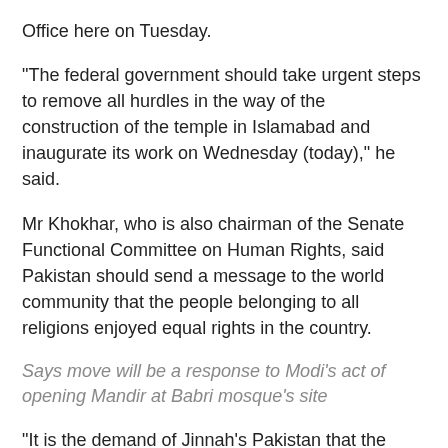Office here on Tuesday.
"The federal government should take urgent steps to remove all hurdles in the way of the construction of the temple in Islamabad and inaugurate its work on Wednesday (today)," he said.
Mr Khokhar, who is also chairman of the Senate Functional Committee on Human Rights, said Pakistan should send a message to the world community that the people belonging to all religions enjoyed equal rights in the country.
Says move will be a response to Modi's act of opening Mandir at Babri mosque's site
"It is the demand of Jinnah's Pakistan that the religious rights of all the minorities should be protected in the country," he added.